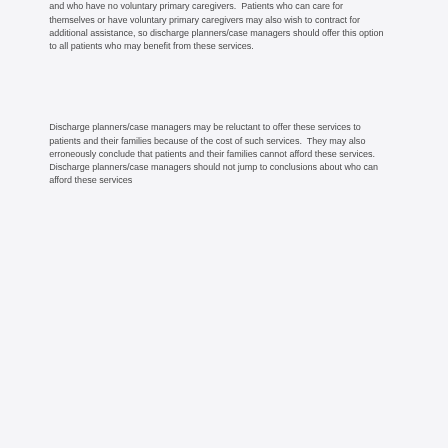and who have no voluntary primary caregivers.  Patients who can care for themselves or have voluntary primary caregivers may also wish to contract for additional assistance, so discharge planners/case managers should offer this option to all patients who may benefit from these services.
Discharge planners/case managers may be reluctant to offer these services to patients and their families because of the cost of such services.  They may also erroneously conclude that patients and their families cannot afford these services.  Discharge planners/case managers should not jump to conclusions about who can afford these services